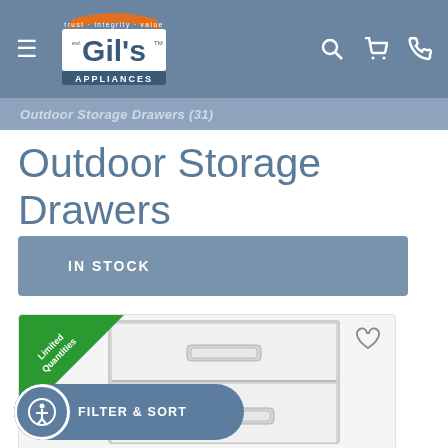[Figure (logo): Gil's Appliances logo with orange banner reading 'trust · integrity · value' and tagline APPLIANCES]
Navigation bar with hamburger menu, Gil's Appliances logo, search icon, cart icon, phone icon
Outdoor Storage Drawers (31)
Outdoor Storage Drawers
IN STOCK
[Figure (photo): Outdoor stainless steel double storage drawer unit with handles, showing Limited Quantities corner badge]
FILTER & SORT